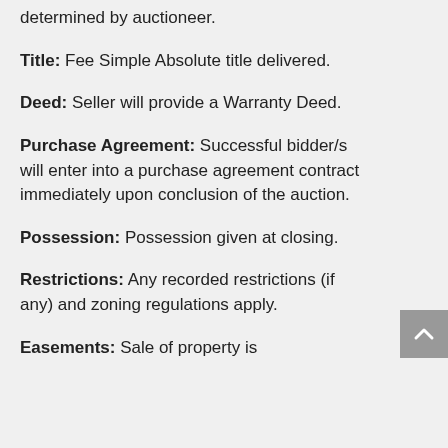determined by auctioneer.
Title: Fee Simple Absolute title delivered.
Deed: Seller will provide a Warranty Deed.
Purchase Agreement: Successful bidder/s will enter into a purchase agreement contract immediately upon conclusion of the auction.
Possession: Possession given at closing.
Restrictions: Any recorded restrictions (if any) and zoning regulations apply.
Easements: Sale of property is